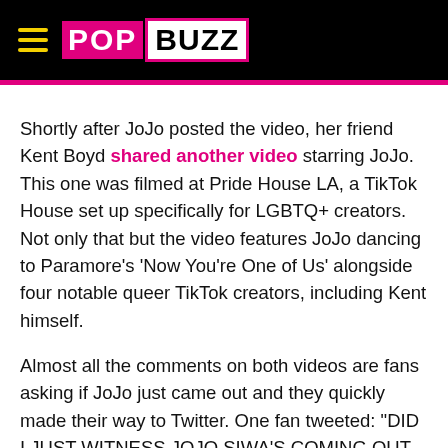POPBUZZ
Shortly after JoJo posted the video, her friend Kent Boyd shared another video starring JoJo. This one was filmed at Pride House LA, a TikTok House set up specifically for LGBTQ+ creators. Not only that but the video features JoJo dancing to Paramore's 'Now You're One of Us' alongside four notable queer TikTok creators, including Kent himself.
Almost all the comments on both videos are fans asking if JoJo just came out and they quickly made their way to Twitter. One fan tweeted: "DID I JUST WITNESS JOJO SIWA'S COMING OUT VIDEO I AM SO HAPPY ??????"
JoJo has since liked a tweet in which Anastasia Suber...